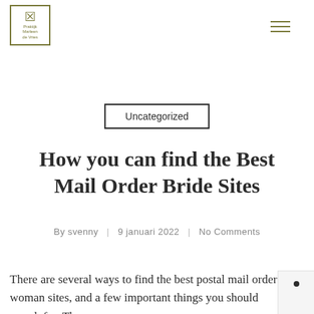Praktijk Marleen de Vries — navigation header with logo and hamburger menu
Uncategorized
How you can find the Best Mail Order Bride Sites
By svenny | 9 januari 2022 | No Comments
There are several ways to find the best postal mail order woman sites, and a few important things you should search for. The…